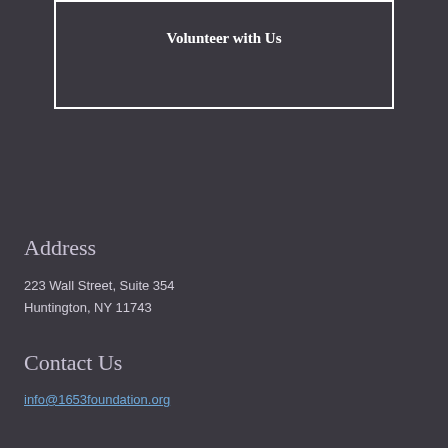Volunteer with Us
Address
223 Wall Street, Suite 354
Huntington, NY 11743
Contact Us
info@1653foundation.org